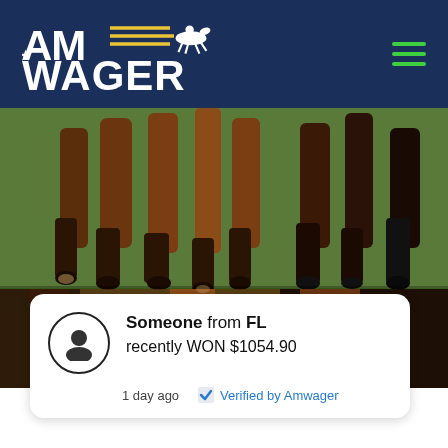[Figure (logo): AmWager logo — white bold text on dark navy blue header background, with a jockey on horseback silhouette and yellow speed lines]
[Figure (photo): Close-up photograph of multiple racehorses running, showing their legs and hooves on grass, split into two panels]
Someone from FL recently WON $1054.90
1 day ago   ✓ Verified by Amwager